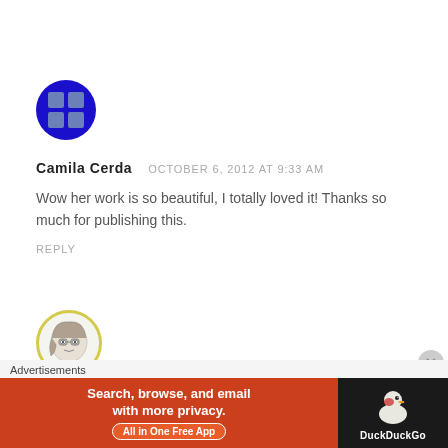[Figure (illustration): Round blue avatar icon with a grid-like pattern in lighter blue/gray, representing a generic user avatar.]
Camila Cerda   OCTOBER 6, 2012 AT 9:33 AM
Wow her work is so beautiful, I totally loved it! Thanks so much for publishing this.
REPLY
[Figure (illustration): Round avatar with yellow/olive border showing a sketched illustration of a woman with dark hair.]
Advertisements
[Figure (screenshot): DuckDuckGo advertisement banner: orange/red section reading 'Search, browse, and email with more privacy. All in One Free App' and dark section with DuckDuckGo duck logo.]